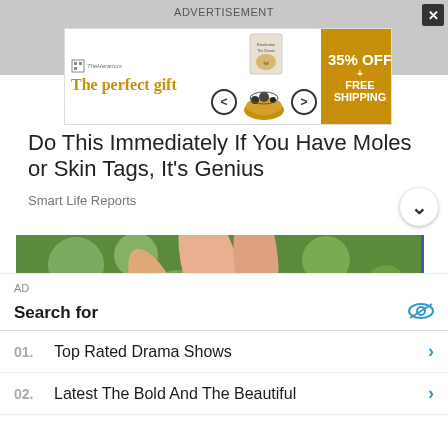ADVERTISEMENT
[Figure (screenshot): Banner advertisement for 'The perfect gift' showing food product with arrows, 35% OFF + FREE SHIPPING offer on gold background]
Do This Immediately If You Have Moles or Skin Tags, It's Genius
Smart Life Reports
[Figure (photo): A hand holding a rambutan fruit (red spiky tropical fruit) with a white interior visible, green foliage in background]
AD
Search for
01. Top Rated Drama Shows
02. Latest The Bold And The Beautiful